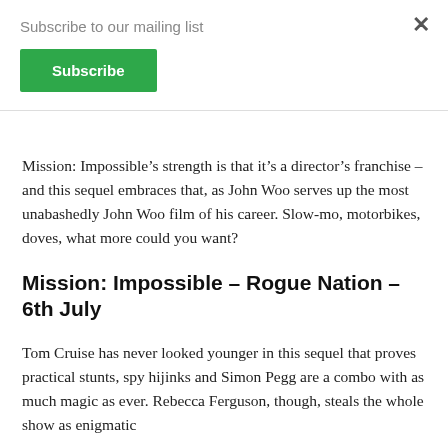Subscribe to our mailing list
Subscribe
Mission: Impossible’s strength is that it’s a director’s franchise – and this sequel embraces that, as John Woo serves up the most unabashedly John Woo film of his career. Slow-mo, motorbikes, doves, what more could you want?
Mission: Impossible – Rogue Nation – 6th July
Tom Cruise has never looked younger in this sequel that proves practical stunts, spy hijinks and Simon Pegg are a combo with as much magic as ever. Rebecca Ferguson, though, steals the whole show as enigmatic